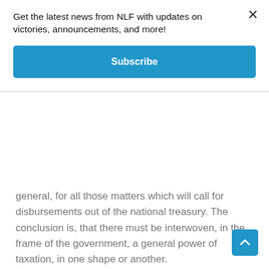Get the latest news from NLF with updates on victories, announcements, and more!
Subscribe
general, for all those matters which will call for disbursements out of the national treasury. The conclusion is, that there must be interwoven, in the frame of the government, a general power of taxation, in one shape or another.
Money is, with propriety, considered as the vital principle of the body politic; as that which sustains its life and mo and enables it to perform its most essential functions. A